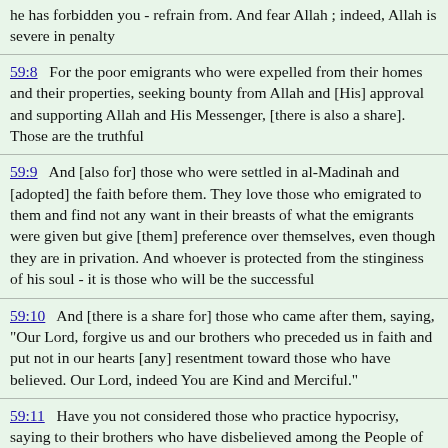he has forbidden you - refrain from. And fear Allah ; indeed, Allah is severe in penalty
59:8  For the poor emigrants who were expelled from their homes and their properties, seeking bounty from Allah and [His] approval and supporting Allah and His Messenger, [there is also a share]. Those are the truthful
59:9  And [also for] those who were settled in al-Madinah and [adopted] the faith before them. They love those who emigrated to them and find not any want in their breasts of what the emigrants were given but give [them] preference over themselves, even though they are in privation. And whoever is protected from the stinginess of his soul - it is those who will be the successful
59:10  And [there is a share for] those who came after them, saying, "Our Lord, forgive us and our brothers who preceded us in faith and put not in our hearts [any] resentment toward those who have believed. Our Lord, indeed You are Kind and Merciful."
59:11  Have you not considered those who practice hypocrisy, saying to their brothers who have disbelieved among the People of the Scripture, "If you are expelled, we will surely leave with you, and we will not obey, in regard to you, anyone - ever; and if you are fought, we will surely aid you." But Allah testifies that